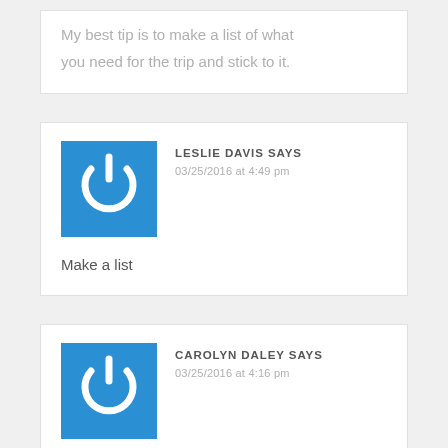My best tip is to make a list of what you need for the trip and stick to it.
[Figure (illustration): Blue square avatar with white power button icon]
LESLIE DAVIS SAYS
03/25/2016 at 4:49 pm
Make a list
[Figure (illustration): Blue square avatar with white power button icon]
CAROLYN DALEY SAYS
03/25/2016 at 4:16 pm